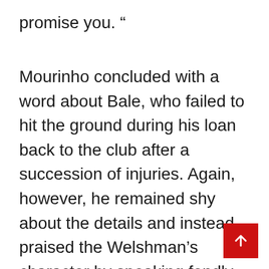promise you. “
Mourinho concluded with a word about Bale, who failed to hit the ground during his loan back to the club after a succession of injuries. Again, however, he remained shy about the details and instead praised the Welshman’s character by speaking fondly of him as a person.